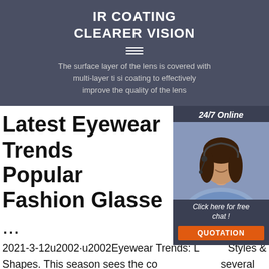IR COATING CLEARER VISION
[Figure (illustration): Hamburger menu icon (three horizontal lines)]
The surface layer of the lens is covered with multi-layer ti si coating to effectively improve the quality of the lens
[Figure (photo): Customer service representative wearing a headset, smiling. Overlay widget with '24/7 Online' label, 'Click here for free chat!' text, and orange QUOTATION button.]
Latest Eyewear Trends Popular Fashion Glasses
...
2021-3-12u2002·u2002Eyewear Trends: Latest Styles & Shapes. This season sees the convergence of several popular trends. Geometrical, slim and oversized, cat-eye, and distinctive details are all the rave this upcoming season for both men and women. Pick them with transparent frames for a more subtle look or with bold colored rims or embellishments for a